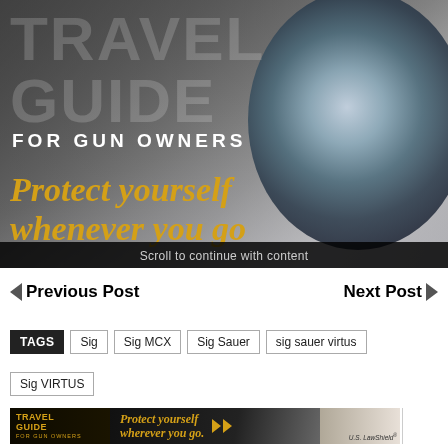[Figure (illustration): Travel Guide for Gun Owners banner image with large semi-transparent text reading TRAVEL GUIDE, subtitle FOR GUN OWNERS in white uppercase, italic gold text reading Protect yourself wherever you go, with a blurred gun barrel/scope background image and a black bar at the bottom reading Scroll to continue with content]
Scroll to continue with content
Previous Post
Next Post
TAGS  Sig  Sig MCX  Sig Sauer  sig sauer virtus
Sig VIRTUS
[Figure (advertisement): Travel Guide for Gun Owners advertisement banner with logo on left, 'Protect yourself wherever you go.' text in gold italic, gold play arrows, and U.S. LawShield branding on right]